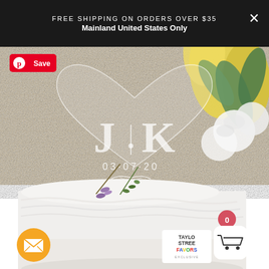FREE SHIPPING ON ORDERS OVER $35
Mainland United States Only
[Figure (photo): A clear acrylic heart-shaped wedding cake topper engraved with initials J and K and date 03.07.20 with a decorative flourish, placed on a white frosted cake with lavender and herb sprigs, yellow roses and greenery in background on linen backdrop]
[Figure (logo): Taylor Street Favors exclusive logo badge in bottom right corner]